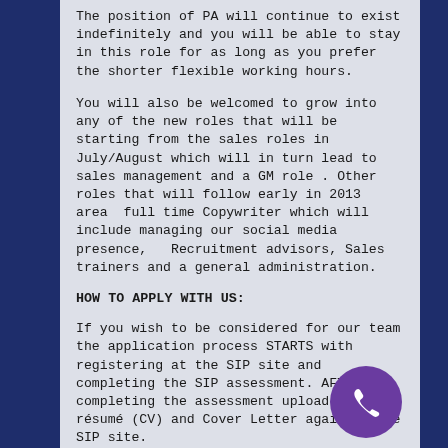The position of PA will continue to exist indefinitely and you will be able to stay in this role for as long as you prefer the shorter flexible working hours.
You will also be welcomed to grow into any of the new roles that will be starting from the sales roles in July/August which will in turn lead to sales management and a GM role . Other roles that will follow early in 2013 area  full time Copywriter which will include managing our social media presence,   Recruitment advisors, Sales trainers and a general administration.
HOW TO APPLY WITH US:
If you wish to be considered for our team the application process STARTS with registering at the SIP site and completing the SIP assessment. AFTER completing the assessment upload your résumé (CV) and Cover Letter again at the SIP site.
[Figure (illustration): Purple circular badge with a white telephone/phone handset icon]